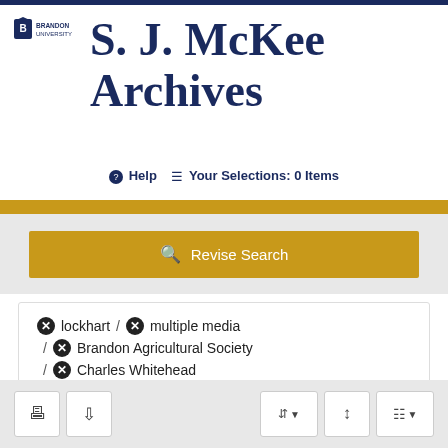[Figure (logo): Brandon University logo with shield icon and text BRANDON UNIVERSITY]
S. J. McKee Archives
Help  Your Selections: 0 Items
Revise Search
lockhart / multiple media / Brandon Agricultural Society / Charles Whitehead